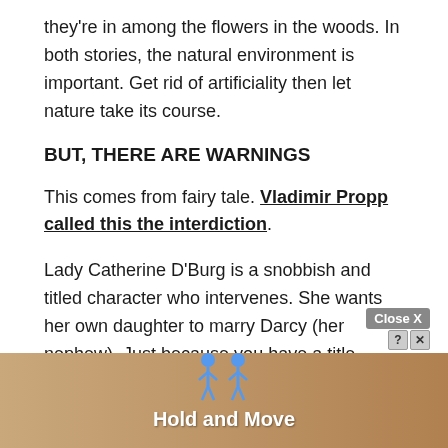they're in among the flowers in the woods. In both stories, the natural environment is important. Get rid of artificiality then let nature take its course.
BUT, THERE ARE WARNINGS
This comes from fairy tale. Vladimir Propp called this the interdiction.
Lady Catherine D'Burg is a snobbish and titled character who intervenes. She wants her own daughter to marry Darcy (her nephew). Just because you have a title doesn't mean you have a never-ending supply of money. It's important that her sickly daughter marries rich.
[Figure (screenshot): Advertisement overlay showing 'Hold and Move' with a Close X button, question mark and X icons, and animated stick figures on a wooden-colored background.]